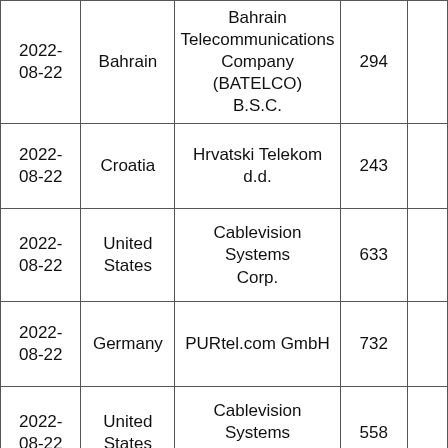| 2022-08-22 | Bahrain | Bahrain Telecommunications Company (BATELCO) B.S.C. | 294 |  |
| 2022-08-22 | Croatia | Hrvatski Telekom d.d. | 243 |  |
| 2022-08-22 | United States | Cablevision Systems Corp. | 633 |  |
| 2022-08-22 | Germany | PURtel.com GmbH | 732 |  |
| 2022-08-22 | United States | Cablevision Systems Corp. | 558 |  |
| 2022-08-22 |  | ViaSat | 689 |  |
| 2022- |  |  |  |  |